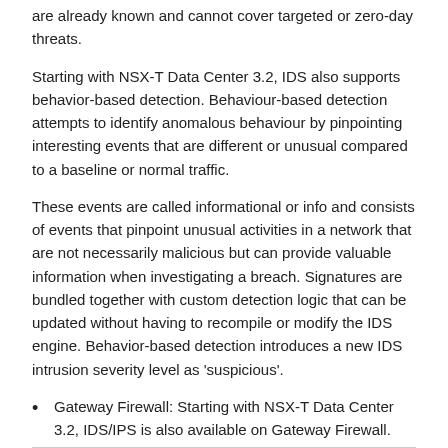are already known and cannot cover targeted or zero-day threats.
Starting with NSX-T Data Center 3.2, IDS also supports behavior-based detection. Behaviour-based detection attempts to identify anomalous behaviour by pinpointing interesting events that are different or unusual compared to a baseline or normal traffic.
These events are called informational or info and consists of events that pinpoint unusual activities in a network that are not necessarily malicious but can provide valuable information when investigating a breach. Signatures are bundled together with custom detection logic that can be updated without having to recompile or modify the IDS engine. Behavior-based detection introduces a new IDS intrusion severity level as 'suspicious'.
Gateway Firewall: Starting with NSX-T Data Center 3.2, IDS/IPS is also available on Gateway Firewall.